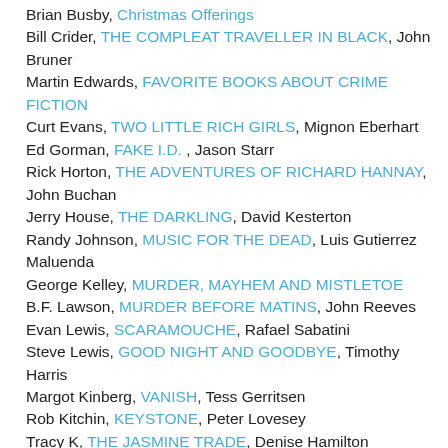Brian Busby, Christmas Offerings
Bill Crider, THE COMPLEAT TRAVELLER IN BLACK, John Bruner
Martin Edwards, FAVORITE BOOKS ABOUT CRIME FICTION
Curt Evans, TWO LITTLE RICH GIRLS, Mignon Eberhart
Ed Gorman, FAKE I.D. , Jason Starr
Rick Horton, THE ADVENTURES OF RICHARD HANNAY, John Buchan
Jerry House, THE DARKLING, David Kesterton
Randy Johnson, MUSIC FOR THE DEAD, Luis Gutierrez Maluenda
George Kelley, MURDER, MAYHEM AND MISTLETOE
B.F. Lawson, MURDER BEFORE MATINS, John Reeves
Evan Lewis, SCARAMOUCHE, Rafael Sabatini
Steve Lewis, GOOD NIGHT AND GOODBYE, Timothy Harris
Margot Kinberg, VANISH, Tess Gerritsen
Rob Kitchin, KEYSTONE, Peter Lovesey
Tracy K, THE JASMINE TRADE, Denise Hamilton
Todd Mason
Neer, THE SCHIRMER INHERITANCE, Eric Ambler